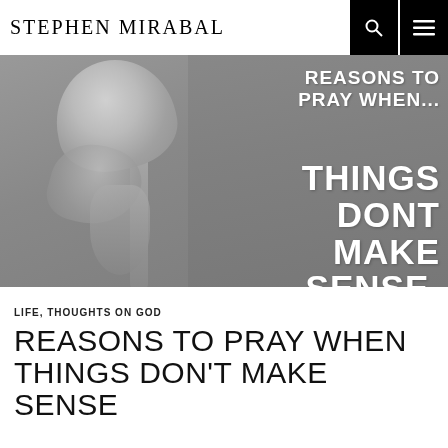STEPHEN MIRABAL
[Figure (photo): Black and white photo of a wilted flower on a stem against a grey background, with overlaid white bold text reading 'REASONS TO PRAY WHEN... THINGS DONT MAKE SENSE.']
LIFE, THOUGHTS ON GOD
REASONS TO PRAY WHEN THINGS DON'T MAKE SENSE